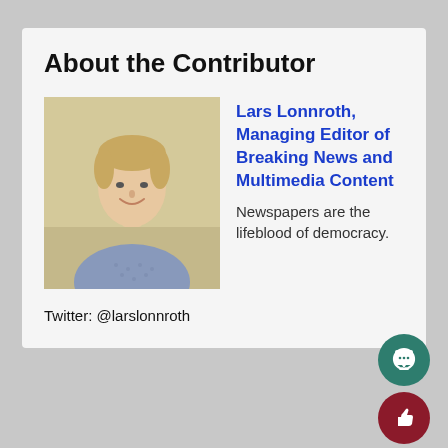About the Contributor
[Figure (photo): Headshot photo of Lars Lonnroth, a young man with light hair wearing a blue patterned shirt, against a beige background]
Lars Lonnroth, Managing Editor of Breaking News and Multimedia Content
Newspapers are the lifeblood of democracy.
Twitter: @larslonnroth